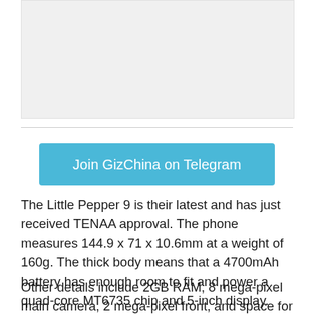[Figure (photo): Light gray placeholder image box at top of page]
Join GizChina on Telegram
The Little Pepper 9 is their latest and has just received TENAA approval. The phone measures 144.9 x 71 x 10.6mm at a weight of 160g. The thick body means that a 4700mAh battery has enough room to fit and power a quad-core MT6735 chip and 5-inch display.
Other details include 2GB RAM, 8 mega-pixel main camera, 2 mega-pixel front, and space for a 64GB SD card. TENAA are listing the